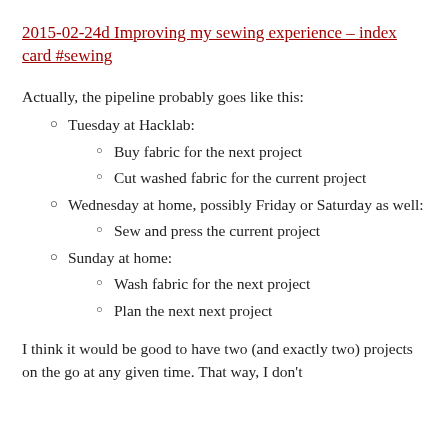2015-02-24d Improving my sewing experience – index card #sewing
Actually, the pipeline probably goes like this:
Tuesday at Hacklab:
Buy fabric for the next project
Cut washed fabric for the current project
Wednesday at home, possibly Friday or Saturday as well:
Sew and press the current project
Sunday at home:
Wash fabric for the next project
Plan the next next project
I think it would be good to have two (and exactly two) projects on the go at any given time. That way, I don't